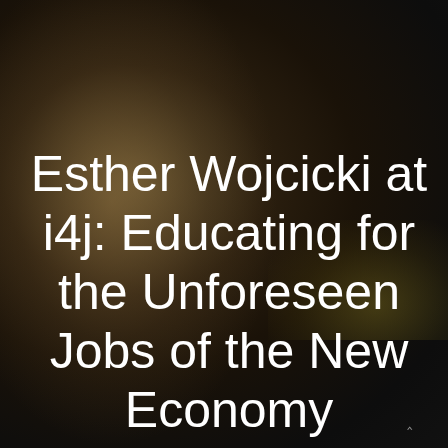[Figure (photo): Dark, blurred background photo of a smiling woman with blonde hair and glasses, wearing a white turtleneck and necklace, shot in low light with warm bokeh. The image is dimmed/overlaid to serve as background for white title text.]
Esther Wojcicki at i4j: Educating for the Unforeseen Jobs of the New Economy